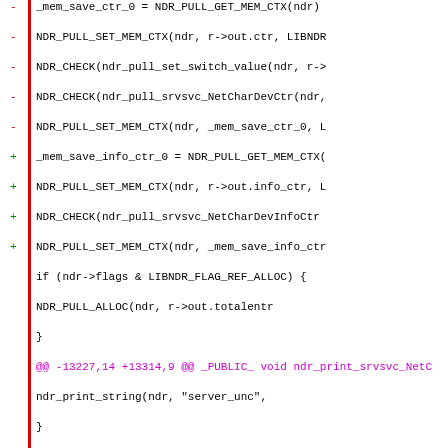[Figure (screenshot): A code diff view showing changes to NDR pull and print functions for srvsvc NetCharDev operations, with red lines (removals) and green lines (additions), and purple hunk headers.]